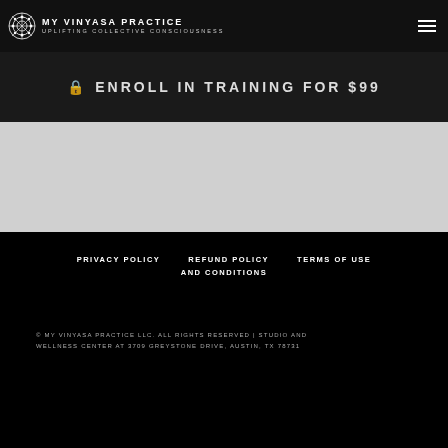MY VINYASA PRACTICE | UPLIFTING COLLECTIVE CONSCIOUSNESS
ENROLL IN TRAINING FOR $99
PRIVACY POLICY   REFUND POLICY AND CONDITIONS   TERMS OF USE
© MY VINYASA PRACTICE LLC. ALL RIGHTS RESERVED | STUDIO AND WELLNESS CENTER AT 3709 GREYSTONE DRIVE, AUSTIN, TX 78731